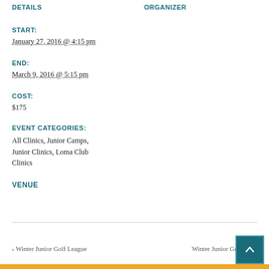DETAILS
ORGANIZER
START:
January 27, 2016 @ 4:15 pm
END:
March 9, 2016 @ 5:15 pm
COST:
$175
EVENT CATEGORIES:
All Clinics, Junior Camps, Junior Clinics, Loma Club Clinics
VENUE
< Winter Junior Golf League
Winter Junior Golf Le...